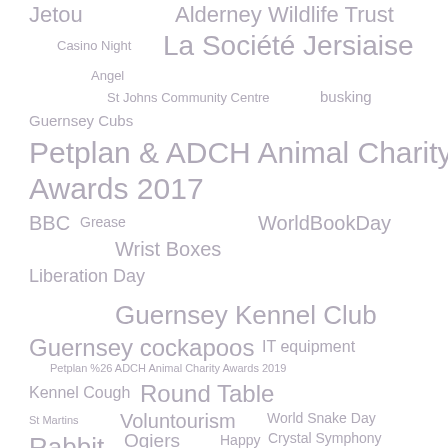[Figure (infographic): Tag cloud / word cloud showing various terms related to charity, community events, and organizations. Terms vary in font size indicating frequency or importance. All text is in a muted gray-purple color on white background. Terms include: Jetou, Alderney Wildlife Trust, Casino Night, La Société Jersiaise, Angel, St Johns Community Centre, busking, Guernsey Cubs, Petplan & ADCH Animal Charity Awards 2017, BBC, Grease, WorldBookDay, Wrist Boxes, Liberation Day, Guernsey Kennel Club, Guernsey cockapoos, IT equipment, Petplan %26 ADCH Animal Charity Awards 2019, Kennel Cough, Round Table, Voluntourism, World Snake Day, Ogiers, Happy, Crystal Symphony, St Martins, Rabbit, GSPVCA, Medi-mark]